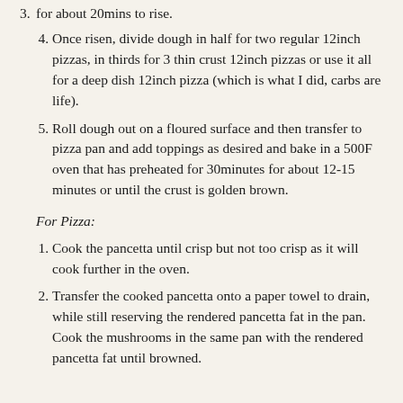for about 20mins to rise.
Once risen, divide dough in half for two regular 12inch pizzas, in thirds for 3 thin crust 12inch pizzas or use it all for a deep dish 12inch pizza (which is what I did, carbs are life).
Roll dough out on a floured surface and then transfer to pizza pan and add toppings as desired and bake in a 500F oven that has preheated for 30minutes for about 12-15 minutes or until the crust is golden brown.
For Pizza:
Cook the pancetta until crisp but not too crisp as it will cook further in the oven.
Transfer the cooked pancetta onto a paper towel to drain, while still reserving the rendered pancetta fat in the pan. Cook the mushrooms in the same pan with the rendered pancetta fat until browned.